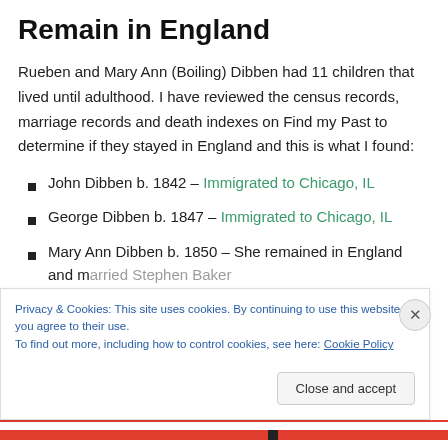Remain in England
Rueben and Mary Ann (Boiling) Dibben had 11 children that lived until adulthood. I have reviewed the census records, marriage records and death indexes on Find my Past to determine if they stayed in England and this is what I found:
John Dibben b. 1842 – Immigrated to Chicago, IL
George Dibben b. 1847 – Immigrated to Chicago, IL
Mary Ann Dibben b. 1850 – She remained in England and married Stephen Baker
Privacy & Cookies: This site uses cookies. By continuing to use this website, you agree to their use.
To find out more, including how to control cookies, see here: Cookie Policy